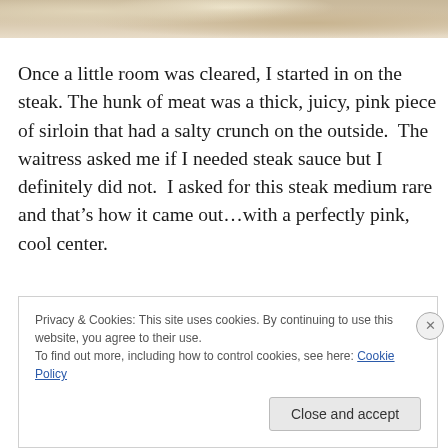[Figure (photo): Top portion of a food photo showing what appears to be meat or a steak dish, partially visible at the top of the page]
Once a little room was cleared, I started in on the steak. The hunk of meat was a thick, juicy, pink piece of sirloin that had a salty crunch on the outside.  The waitress asked me if I needed steak sauce but I definitely did not.  I asked for this steak medium rare and that’s how it came out…with a perfectly pink, cool center.
Privacy & Cookies: This site uses cookies. By continuing to use this website, you agree to their use.
To find out more, including how to control cookies, see here: Cookie Policy